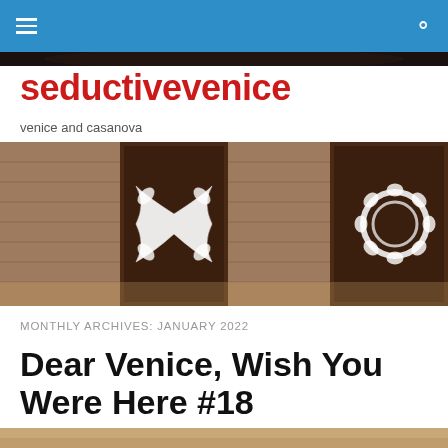seductivevenice — navigation bar
seductivevenice
venice and casanova
[Figure (photo): Photo of old Venetian brick walls and wooden doors decorated with large black-and-white floral X and O graffiti artworks]
MONTHLY ARCHIVES: JANUARY 2022
Dear Venice, Wish You Were Here #18
[Figure (photo): Partial thumbnail of an image at the bottom of the page, showing a warm sandy/golden surface]